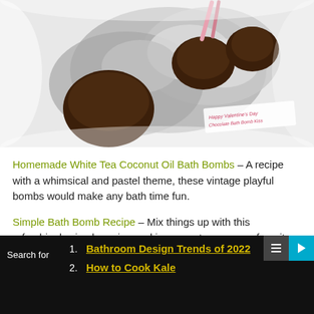[Figure (photo): Photo of chocolate bath bombs wrapped in silver foil, some unwrapped showing brown chocolate-shaped forms, with a white paper tag reading 'Happy Valentine's Day Chocolate Bath Bomb Kiss']
Homemade White Tea Coconut Oil Bath Bombs – A recipe with a whimsical and pastel theme, these vintage playful bombs would make any bath time fun.
Simple Bath Bomb Recipe – Mix things up with this refreshingly simple recipe and incorporate your own favorite scent.
Search for
1. Bathroom Design Trends of 2022
2. How to Cook Kale